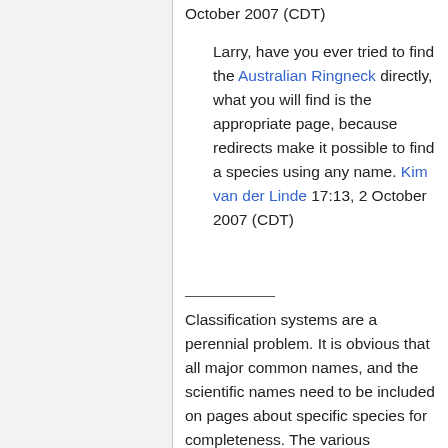October 2007 (CDT)
Larry, have you ever tried to find the Australian Ringneck directly, what you will find is the appropriate page, because redirects make it possible to find a species using any name. Kim van der Linde 17:13, 2 October 2007 (CDT)
Classification systems are a perennial problem. It is obvious that all major common names, and the scientific names need to be included on pages about specific species for completeness. The various phylogenetic subdivisions should of course be noted. Page titles seem to be the issue here. Page titles should probably be the most accepted common name, but that will be difficult to